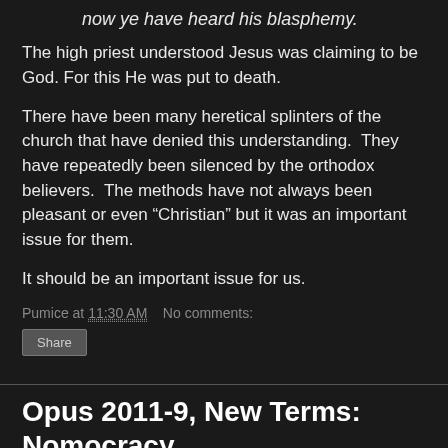now ye have heard his blasphemy.
The high priest understood Jesus was claiming to be God. For this He was put to death.
There have been many heretical splinters of the church that have denied this understanding.  They have repeatedly been silenced by the orthodox believers.  The methods have not always been pleasant or even “Christian” but it was an important issue for them.
It should be an important issue for us.
Pumice at 11:30 AM   No comments:
Share
Opus 2011-9, New Terms: Nomocracy
This is a new term for me.  My spell checker does not recognize it.  I like it.  I usually use another term but this one